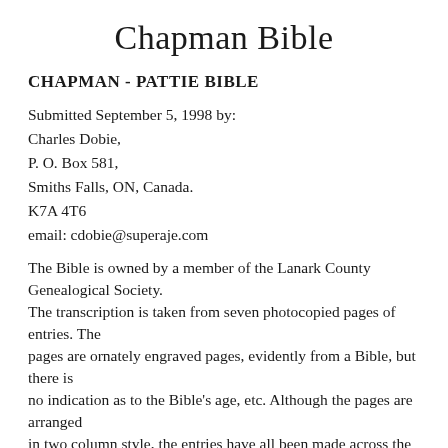Chapman Bible
CHAPMAN - PATTIE BIBLE
Submitted September 5, 1998 by:
Charles Dobie,
P. O. Box 581,
Smiths Falls, ON, Canada.
K7A 4T6
email: cdobie@superaje.com
The Bible is owned by a member of the Lanark County Genealogical Society.
The transcription is taken from seven photocopied pages of entries. The
pages are ornately engraved pages, evidently from a Bible, but there is
no indication as to the Bible's age, etc. Although the pages are arranged
in two column style, the entries have all been made across the page.